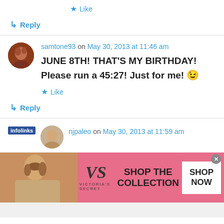★ Like
↳ Reply
samtone93 on May 30, 2013 at 11:46 am
JUNE 8TH! THAT'S MY BIRTHDAY! Please run a 45:27! Just for me! 😉
★ Like
↳ Reply
njpaleo on May 30, 2013 at 11:59 am
[Figure (screenshot): Victoria's Secret advertisement banner with model, VS logo, 'SHOP THE COLLECTION' text, and 'SHOP NOW' button]